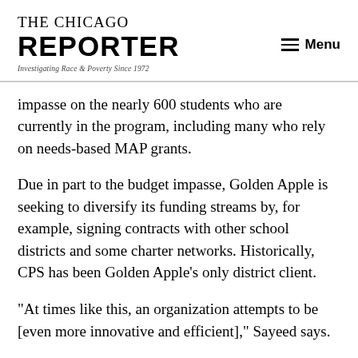THE CHICAGO REPORTER — Investigating Race & Poverty Since 1972 — Menu
impasse on the nearly 600 students who are currently in the program, including many who rely on needs-based MAP grants.
Due in part to the budget impasse, Golden Apple is seeking to diversify its funding streams by, for example, signing contracts with other school districts and some charter networks. Historically, CPS has been Golden Apple's only district client.
“At times like this, an organization attempts to be [even more innovative and efficient],” Sayeed says.